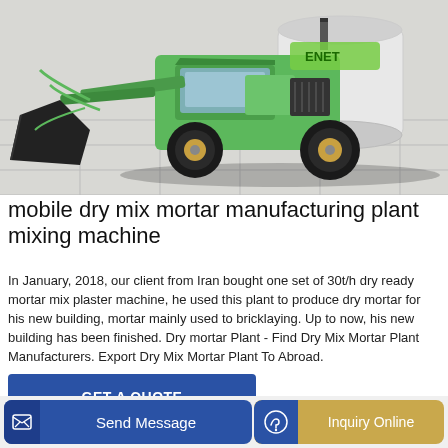[Figure (photo): Green mobile dry mix mortar manufacturing machine (mixer on wheels) on a light tiled floor background. Machine is bright green with a cylindrical mixing drum at the rear and a front-loading bucket attachment.]
mobile dry mix mortar manufacturing plant mixing machine
In January, 2018, our client from Iran bought one set of 30t/h dry ready mortar mix plaster machine, he used this plant to produce dry mortar for his new building, mortar mainly used to bricklaying. Up to now, his new building has been finished. Dry mortar Plant - Find Dry Mix Mortar Plant Manufacturers. Export Dry Mix Mortar Plant To Abroad.
GET A QUOTE
Send Message
Inquiry Online